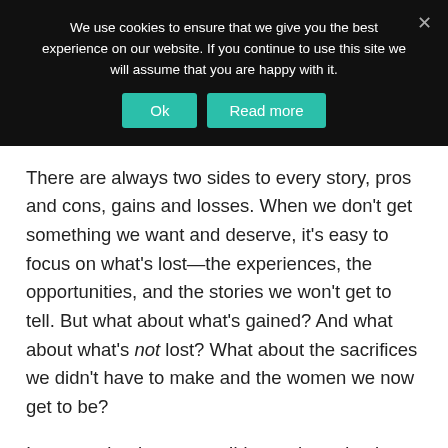We use cookies to ensure that we give you the best experience on our website. If you continue to use this site we will assume that you are happy with it.
There are always two sides to every story, pros and cons, gains and losses. When we don’t get something we want and deserve, it’s easy to focus on what’s lost—the experiences, the opportunities, and the stories we won’t get to tell. But what about what’s gained? And what about what’s not lost? What about the sacrifices we didn’t have to make and the women we now get to be?
I may not be the woman I’d once hoped to be—a mother—but I know who I am now, and a part of me is